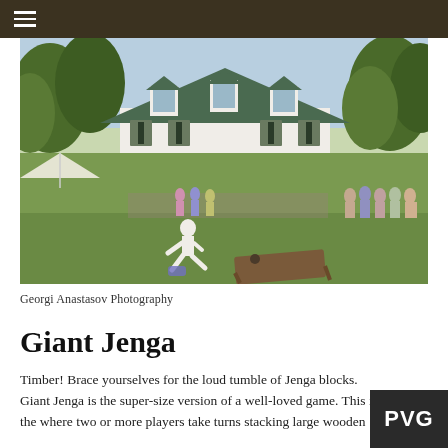[Figure (photo): Outdoor wedding or event scene at a large white colonial farmhouse. A child in white clothes is playing a lawn game (cornhole) on the grass. Groups of guests are gathered near the wrap-around porch of the house. Trees surround the property under a warm late-afternoon sky.]
Georgi Anastasov Photography
Giant Jenga
Timber! Brace yourselves for the loud tumble of Jenga blocks. Giant Jenga is the super-size version of a well-loved game. This is the where two or more players take turns stacking large wooden